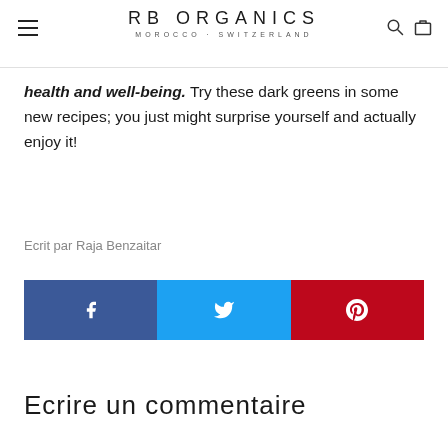RB ORGANICS · MOROCCO · SWITZERLAND
health and well-being. Try these dark greens in some new recipes; you just might surprise yourself and actually enjoy it!
Ecrit par Raja Benzaitar
[Figure (infographic): Social share bar with Facebook (blue), Twitter (light blue), and Pinterest (red) buttons with respective icons]
Ecrire un commentaire